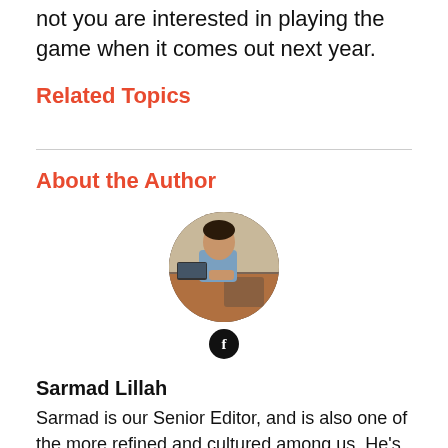Cry 5 demo at Gamescom 2018 and whether or not you are interested in playing the game when it comes out next year.
Related Topics
About the Author
[Figure (photo): Circular profile photo of Sarmad Lillah sitting at a desk. Below the photo is a circular black Facebook icon with the letter f.]
Sarmad Lillah
Sarmad is our Senior Editor, and is also one of the more refined and cultured among us. He's